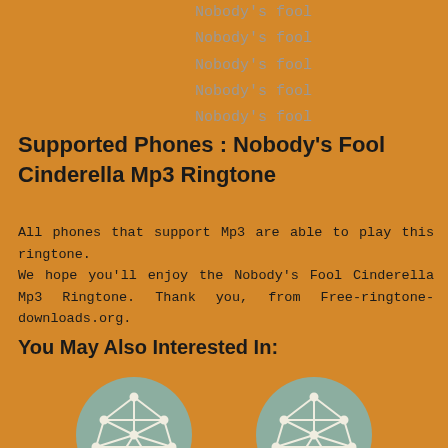Nobody's fool
Nobody's fool
Nobody's fool
Nobody's fool
Nobody's fool
Supported Phones : Nobody's Fool Cinderella Mp3 Ringtone
All phones that support Mp3 are able to play this ringtone.
We hope you'll enjoy the Nobody's Fool Cinderella Mp3 Ringtone. Thank you, from Free-ringtone-downloads.org.
You May Also Interested In:
[Figure (illustration): Two circular teal icons with a geometric wireframe sphere/polyhedron design, partially cut off at the bottom of the page.]